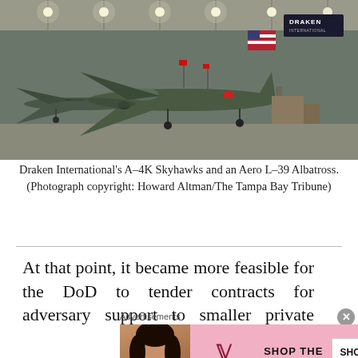[Figure (photo): Military jets (A-4K Skyhawks and Aero L-39 Albatross) parked inside a large aircraft hangar with Draken International banner visible in background along with an American flag.]
Draken International's A-4K Skyhawks and an Aero L-39 Albatross. (Photograph copyright: Howard Altman/The Tampa Bay Tribune)
At that point, it became more feasible for the DoD to tender contracts for adversary support to smaller private organizations which maintained small fleets of older fighters
Advertisements
[Figure (screenshot): Victoria's Secret advertisement banner: 'SHOP THE COLLECTION' with 'SHOP NOW' button and Victoria's Secret logo.]